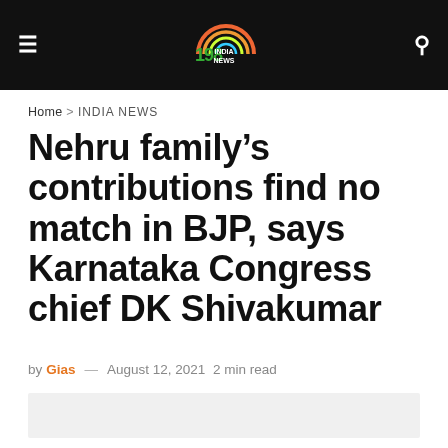198 India News
Home > INDIA NEWS
Nehru family's contributions find no match in BJP, says Karnataka Congress chief DK Shivakumar
by Gias — August 12, 2021  2 min read
[Figure (photo): Article image placeholder (light grey box)]